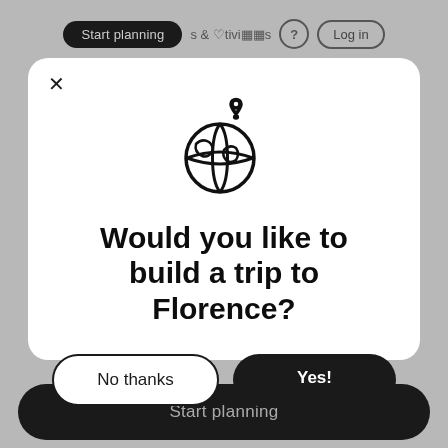[Figure (screenshot): A modal dialog on a travel planning website asking 'Would you like to build a trip to Florence?' with a globe/location pin icon, a 'No thanks' button and a 'Yes!' button. Background shows a grayed-out navigation bar with 'Start planning' pill and 'Log in' button. Bottom has a dark 'Start planning' button bar.]
Would you like to build a trip to Florence?
No thanks
Yes!
Start planning